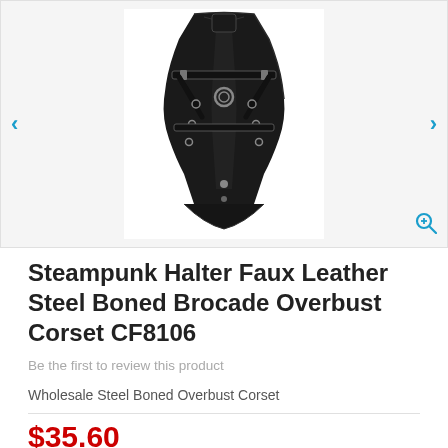[Figure (photo): Black steampunk halter faux leather steel boned brocade overbust corset with silver hardware, buckles, and straps, shown from the front on a white background.]
Steampunk Halter Faux Leather Steel Boned Brocade Overbust Corset CF8106
Be the first to review this product
Wholesale Steel Boned Overbust Corset
$35.60